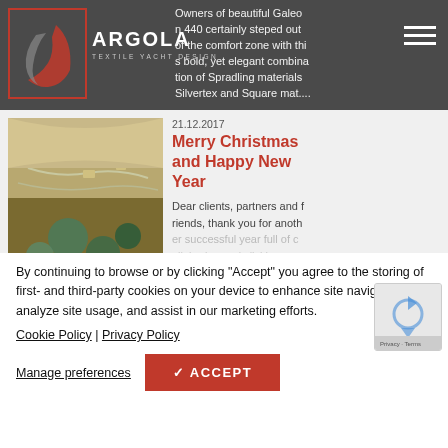ARGOLA TEXTILE YACHT DESIGN
Owners of beautiful Galeon 440 certainly steped out of the comfort zone with this bold, yet elegant combination of Spradling materials Silvertex and Square mat....
21.12.2017
Merry Christmas and Happy New Year
Dear clients, partners and friends, thank you for another successful year full of c...
By continuing to browse or by clicking “Accept” you agree to the storing of first- and third-party cookies on your device to enhance site navigation, analyze site usage, and assist in our marketing efforts.
Cookie Policy | Privacy Policy
Manage preferences
✓ ACCEPT
01.06.2017
SERGE FERRARI MESH – LUXURIOUS COVER FOR EVERY YACHT